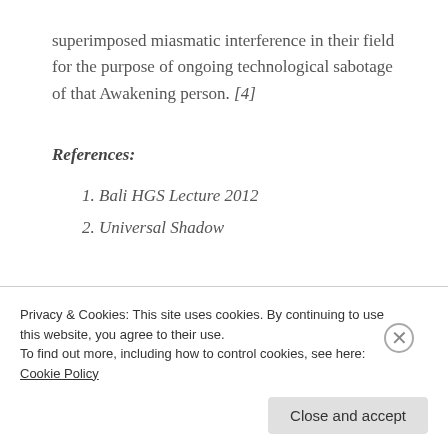superimposed miasmatic interference in their field for the purpose of ongoing technological sabotage of that Awakening person. [4]
References:
1. Bali HGS Lecture 2012
2. Universal Shadow
Privacy & Cookies: This site uses cookies. By continuing to use this website, you agree to their use.
To find out more, including how to control cookies, see here: Cookie Policy